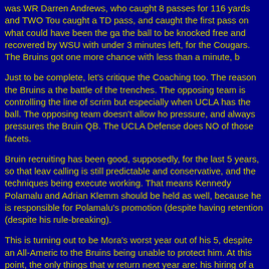was WR Darren Andrews, who caught 8 passes for 116 yards and TWO Tou caught a TD pass, and caught the first pass on what could have been the ga the ball to be knocked free and recovered by WSU with under 3 minutes left, for the Cougars. The Bruins got one more chance with less than a minute, b
Just to be complete, let's critique the Coaching too. The reason the Bruins a the battle of the trenches. The opposing team is controlling the line of scrim but especially when UCLA has the ball. The opposing team doesn't allow ho pressure, and always pressures the Bruin QB. The UCLA Defense does NO of those facets.
Bruin recruiting has been good, supposedly, for the last 5 years, so that leav calling is still predictable and conservative, and the techniques being execute working. That means Kennedy Polamalu and Adrian Klemm should be held as well, because he is responsible for Polamalu's promotion (despite having retention (despite his rule-breaking).
This is turning out to be Mora's worst year out of his 5, despite an All-Americ to the Bruins being unable to protect him. At this point, the only things that w return next year are: his hiring of a new O.C, a stellar, Top 10 recruiting clas the latter of which is looking less and less likely. The trojans destroyed Arizo the opposite direction from the Bruins. And it can't be blamed on Fafaul or R
Let's take our minds off of all this doom and gloom, uplifting spirits with these